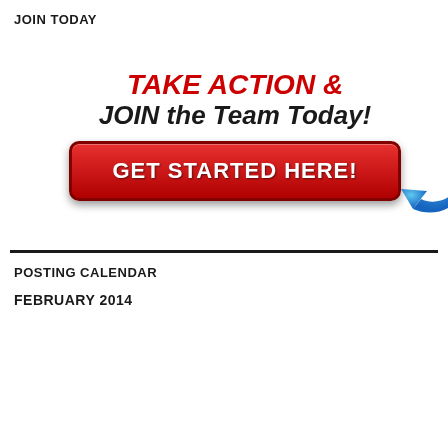JOIN TODAY
[Figure (infographic): Red call-to-action banner with text 'TAKE ACTION & JOIN the Team Today!' in red and black italic bold, a red rounded button labeled 'GET STARTED HERE!' in white bold text, and a blue arrow pointing left toward the button.]
POSTING CALENDAR
FEBRUARY 2014
| M | T | W | T | F | S | S |
| --- | --- | --- | --- | --- | --- | --- |
|  |  |  |  |  | 1 | 2 |
| 3 | 4 | 5 | 6 | 7 | 8 | 9 |